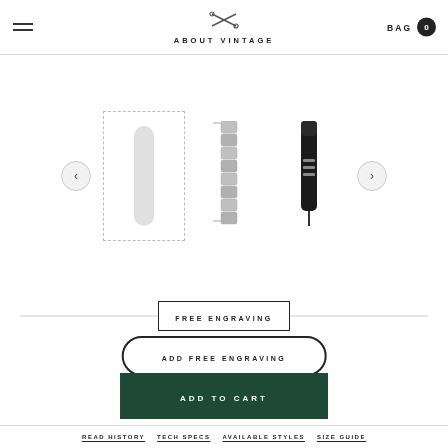ABOUT VINTAGE
[Figure (photo): E-commerce product page showing watch strap options in a horizontal carousel. Left: selected item shown in dashed-border box with a plain white/silver capsule shape. Middle: silver metal bracelet watch strap. Right: black leather watch strap. Left and right navigation arrow buttons visible.]
FREE ENGRAVING
ADD FREE ENGRAVING
ADD TO CART
READ HISTORY   TECH SPECS   AVAILABLE STYLES   SIZE GUIDE